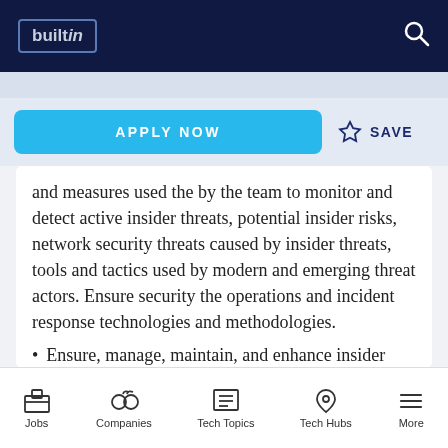builtin
APPLY NOW   ☆ SAVE
and measures used the by the team to monitor and detect active insider threats, potential insider risks, network security threats caused by insider threats, tools and tactics used by modern and emerging threat actors. Ensure security the operations and incident response technologies and methodologies.
Ensure, manage, maintain, and enhance insider threat security controls (alerts, rules, policies, and signatures) for the security platforms
Jobs  Companies  Tech Topics  Tech Hubs  More